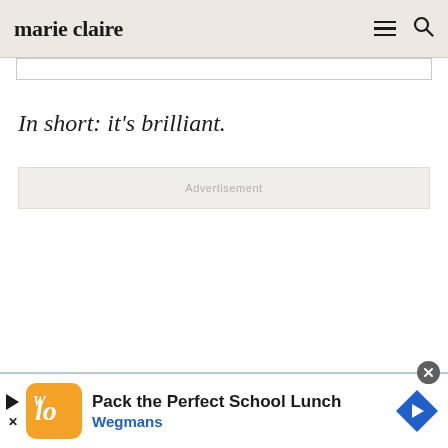marie claire
In short: it's brilliant.
Advertisement
[Figure (other): Bottom advertisement banner: Pack the Perfect School Lunch - Wegmans]